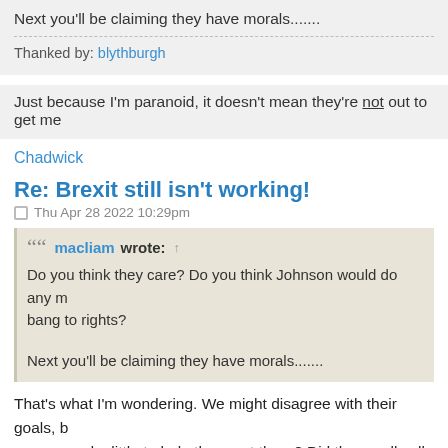Next you'll be claiming they have morals.......
Thanked by: blythburgh
Just because I'm paranoid, it doesn't mean they're not out to get me
Chadwick
Re: Brexit still isn't working!
Thu Apr 28 2022 10:29pm
macliam wrote: ↑ Do you think they care? Do you think Johnson would do any m bang to rights?

Next you'll be claiming they have morals.......
That's what I'm wondering. We might disagree with their goals, b or prepared a little to help them get there? Did they really all loo of what they wanted or how to get it? it certainly feels like it.